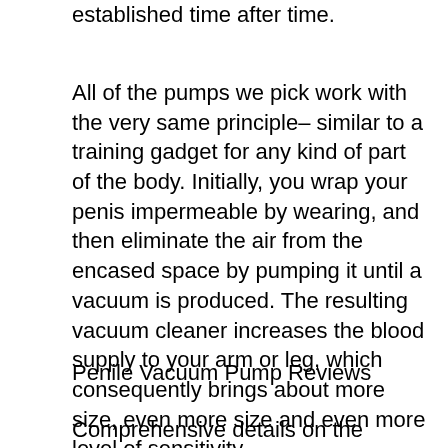established time after time.
All of the pumps we pick work with the very same principle– similar to a training gadget for any kind of part of the body. Initially, you wrap your penis impermeable by wearing, and then eliminate the air from the encased space by pumping it until a vacuum is produced. The resulting vacuum cleaner increases the blood supply to your arm or leg, which consequently brings about more size, even more size and even more level of sensitivity.
Penile Vacuum Pump Reviews
Comprehensive details on the materials utilized and the special features of the